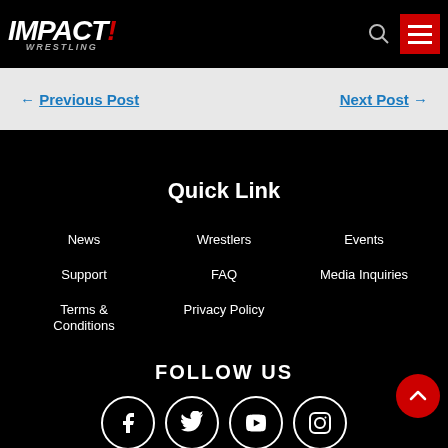[Figure (logo): IMPACT! Wrestling logo in white and red on black header bar]
← Previous Post
Next Post →
Quick Link
News
Wrestlers
Events
Support
FAQ
Media Inquiries
Terms & Conditions
Privacy Policy
FOLLOW US
[Figure (infographic): Social media icons: Facebook, Twitter, YouTube, Instagram in white circles]